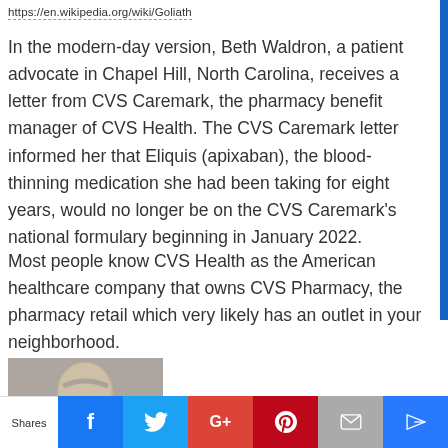https://en.wikipedia.org/wiki/Goliath
In the modern-day version, Beth Waldron, a patient advocate in Chapel Hill, North Carolina, receives a letter from CVS Caremark, the pharmacy benefit manager of CVS Health. The CVS Caremark letter informed her that Eliquis (apixaban), the blood-thinning medication she had been taking for eight years, would no longer be on the CVS Caremark’s national formulary beginning in January 2022.
Most people know CVS Health as the American healthcare company that owns CVS Pharmacy, the pharmacy retail which very likely has an outlet in your neighborhood.
[Figure (photo): Photo of a person with gray hair and glasses]
Shares | Facebook | Twitter | Google+ | Pinterest | Email | Crown